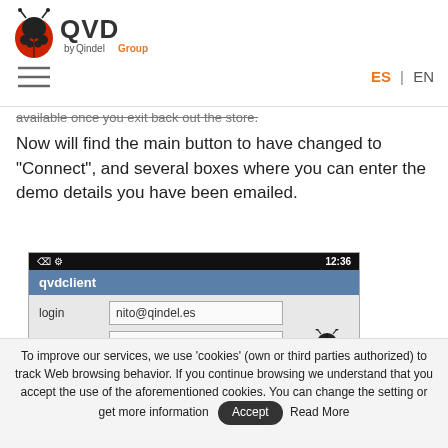QVD by QindelGroup — ES | EN
available once you exit back out the store.
Now will find the main button to have changed to "Connect", and several boxes where you can enter the demo details you have been emailed.
[Figure (screenshot): Android app screenshot showing qvdclient login screen with fields: login (nito@qindel.es), password (dots), Host (ddemo.theqvd.com), and QVD ladybug logo. Status bar shows 12:36.]
To improve our services, we use 'cookies' (own or third parties authorized) to track Web browsing behavior. If you continue browsing we understand that you accept the use of the aforementioned cookies. You can change the setting or get more information  Accept  Read More